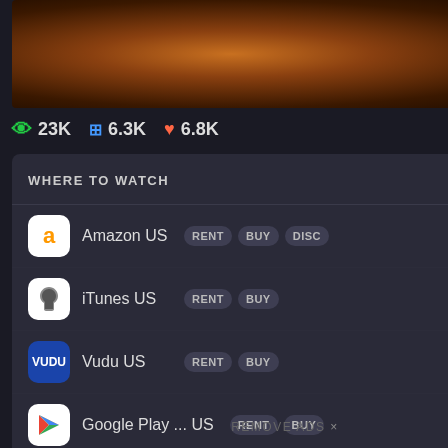[Figure (photo): Dark brown/orange textured animal fur or feather close-up image]
👁 23K  ⊞ 6.3K  ♥ 6.8K
WHERE TO WATCH
▶ Trailer
Amazon US  RENT  BUY  DISC
iTunes US  RENT  BUY
Vudu US  RENT  BUY
Google Play ... US  RENT  BUY
Go PRO to customize this list
All services...
JustWatch
REMOVE ADS ×
SIMILAR FILMS
[Figure (photo): Movie poster for 'Cameraperson' - black and white image of a person with camera, yellow text overlay]
[Figure (photo): Movie poster for David Attenborough documentary - close-up of elderly man's face]
POPULAR LISTS
[Figure (photo): Popular lists thumbnails including Beatles Get Back and other films]